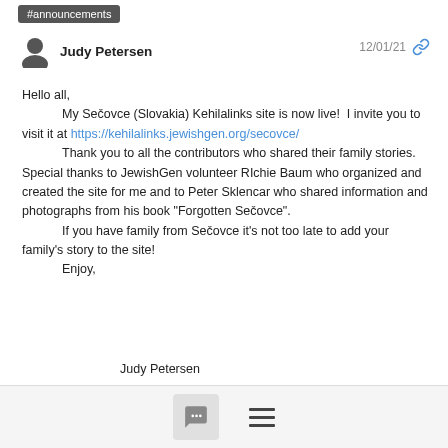#announcements
Judy Petersen  12/01/21
Hello all,
      My Sečovce (Slovakia) Kehilalinks site is now live!  I invite you to visit it at https://kehilalinks.jewishgen.org/secovce/
      Thank you to all the contributors who shared their family stories.  Special thanks to JewishGen volunteer RIchie Baum who organized and created the site for me and to Peter Sklencar who shared information and photographs from his book "Forgotten Sečovce".
      If you have family from Sečovce it's not too late to add your family's story to the site!
      Enjoy,

Judy Petersen